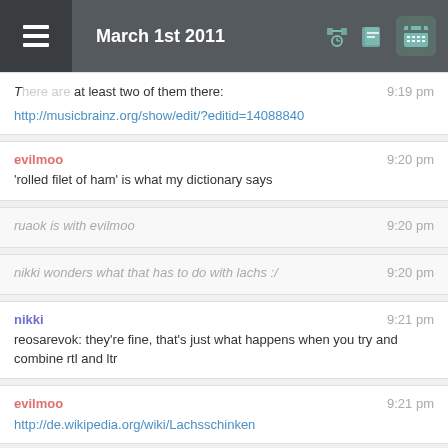March 1st 2011
There are at least two of them there:
http://musicbrainz.org/show/edit/?editid=14088840
evilmoo
'rolled filet of ham' is what my dictionary says
ruaok is with evilmoo
nikki wonders what that has to do with lachs :/
nikki
reosarevok: they're fine, that's just what happens when you try and combine rtl and ltr
evilmoo
http://de.wikipedia.org/wiki/Lachsschinken